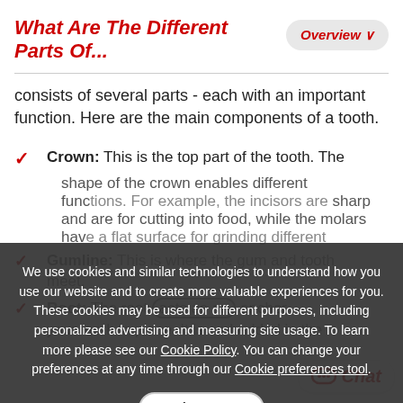What Are The Different Parts Of...
consists of several parts - each with an important function. Here are the main components of a tooth.
Crown: This is the top part of the tooth. The shape of the crown enables different functions. For example, the incisors are sharp and are for cutting into food, while the molars have a flat surface for grinding different foods.
Gumline: This is where the gum and tooth meet.
Root: The root acts as an anchor for your teeth in place. It is embedded in the
We use cookies and similar technologies to understand how you use our website and to create more valuable experiences for you. These cookies may be used for different purposes, including personalized advertising and measuring site usage. To learn more please see our Cookie Policy. You can change your preferences at any time through our Cookie preferences tool.